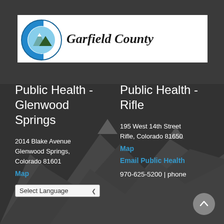[Figure (logo): Garfield County logo: blue Colorado C shape with mountain peaks inside, white background banner with text 'Garfield County' in italic serif font]
Public Health - Glenwood Springs
Public Health - Rifle
2014 Blake Avenue
Glenwood Springs,
Colorado 81601
Map
195 West 14th Street
Rifle, Colorado 81650
Map
Email Public Health
970-625-5200 | phone